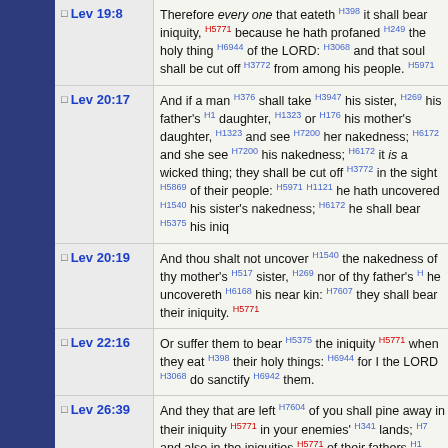Lev 19:8 - Therefore every one that eateth H398 it shall bear iniquity H5771 because he hath profaned H2490 the holy thing H6944 of the LORD H3068 and that soul shall be cut off H3772 from among his people H5971
Lev 20:17 - And if a man H376 shall take H3947 his sister H269 his father's H1 daughter H1323 or H176 his mother's daughter H1323 and see H7200 her nakedness H6172 and she see H7200 his nakedness H6172 it is a wicked thing H2617 they shall be cut off H3772 in the sight H5869 of their people H5971 H1121 he hath uncovered H1540 his sister's nakedness H6172 he shall bear H5375 his iniquity
Lev 20:19 - And thou shalt not uncover H1540 the nakedness of thy mother's H517 sister H269 nor of thy father's H1 sister H269 for he uncovereth H6168 his near kin H7607 they shall bear H5375 their iniquity H5771
Lev 22:16 - Or suffer them to bear H5375 the iniquity H5771 of trespass when they eat H398 their holy things H6944 for I the LORD H3068 do sanctify H6942 them
Lev 26:39 - And they that are left H7604 of you shall pine away in their iniquity H5771 in your enemies H341 lands H7760 and also in the iniquities H5771 of their fathers H1 shall they pine away with them
Lev 26:40 - If they shall confess H3034 their iniquity H5771...